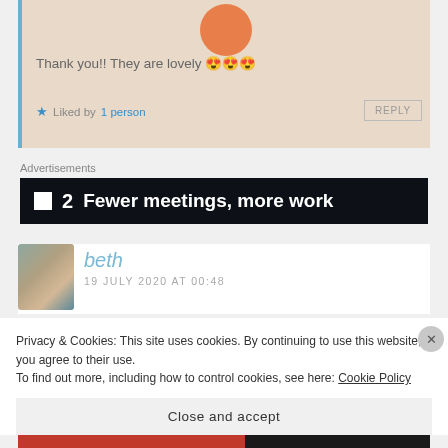[Figure (illustration): Orange avatar circle at top of comment box]
Thank you!! They are lovely 😍😍😍
★ Liked by 1 person   REPLY
Advertisements
[Figure (screenshot): Dark ad banner with white square icon, number 2, and text 'Fewer meetings, more work']
[Figure (photo): Profile photo of beth - person wearing colorful hat]
beth
19 JULY 2020 AT 00:48
Privacy & Cookies: This site uses cookies. By continuing to use this website, you agree to their use.
To find out more, including how to control cookies, see here: Cookie Policy
Close and accept